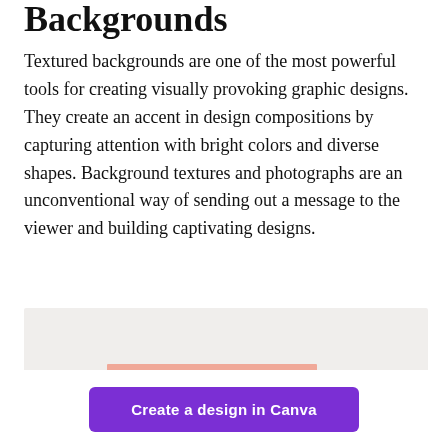Backgrounds
Textured backgrounds are one of the most powerful tools for creating visually provoking graphic designs. They create an accent in design compositions by capturing attention with bright colors and diverse shapes. Background textures and photographs are an unconventional way of sending out a message to the viewer and building captivating designs.
[Figure (photo): Partial view of a photo/illustration inside a light gray box, showing a peach/salmon-colored shape at the bottom center]
Create a design in Canva